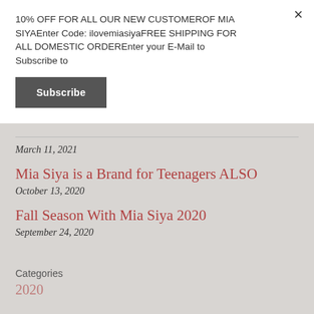10% OFF FOR ALL OUR NEW CUSTOMEROF MIA SIYAEnter Code: ilovemiasiyaFREE SHIPPING FOR ALL DOMESTIC ORDEREnter your E-Mail to Subscribe to
Subscribe
March 11, 2021
Mia Siya is a Brand for Teenagers ALSO
October 13, 2020
Fall Season With Mia Siya 2020
September 24, 2020
Categories
2020